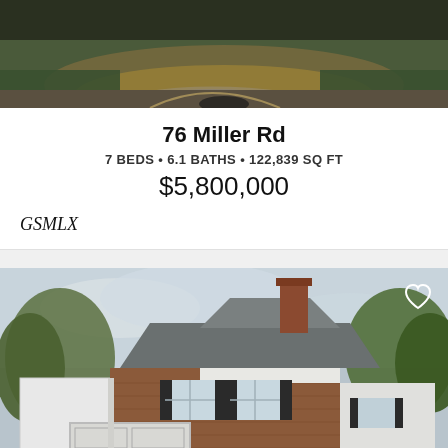[Figure (photo): Exterior photo of property driveway area at dusk/evening, showing curved driveway, lawn, and warm lighting]
76 Miller Rd
7 BEDS • 6.1 BATHS • 122,839 SQ FT
$5,800,000
GSMLX
[Figure (photo): Exterior photo of a two-story brick and white siding colonial house with chimney, multiple windows with black shutters, and attached garage. Green trees and lawn visible.]